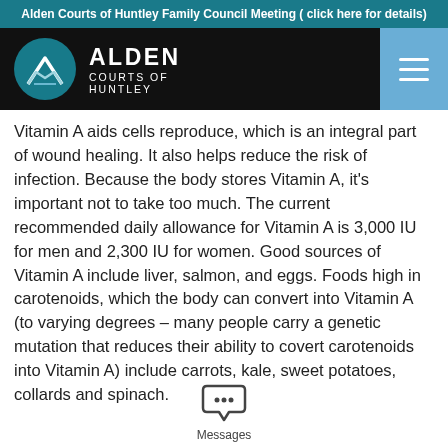Alden Courts of Huntley Family Council Meeting ( click here for details)
[Figure (logo): Alden Courts of Huntley logo with teal circle containing mountain/chevron icon and white text 'ALDEN COURTS OF HUNTLEY' on dark background, with a hamburger menu button on the right]
Vitamin A aids cells reproduce, which is an integral part of wound healing. It also helps reduce the risk of infection. Because the body stores Vitamin A, it's important not to take too much. The current recommended daily allowance for Vitamin A is 3,000 IU for men and 2,300 IU for women. Good sources of Vitamin A include liver, salmon, and eggs. Foods high in carotenoids, which the body can convert into Vitamin A (to varying degrees – many people carry a genetic mutation that reduces their ability to covert carotenoids into Vitamin A) include carrots, kale, sweet potatoes, collards and spinach.
[Figure (illustration): Chat/Messages icon (speech bubble with three dots) with label 'Messages' below]